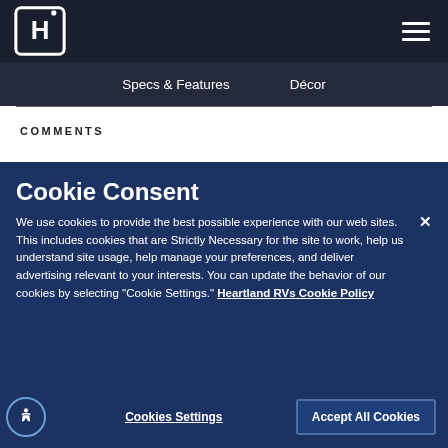Heartland RV logo and navigation menu
Specs & Features   Décor
COMMENTS
Cookie Consent
We use cookies to provide the best possible experience with our web sites. This includes cookies that are Strictly Necessary for the site to work, help us understand site usage, help manage your preferences, and deliver advertising relevant to your interests. You can update the behavior of our cookies by selecting "Cookie Settings." Heartland RVs Cookie Policy
Cookies Settings   Accept All Cookies